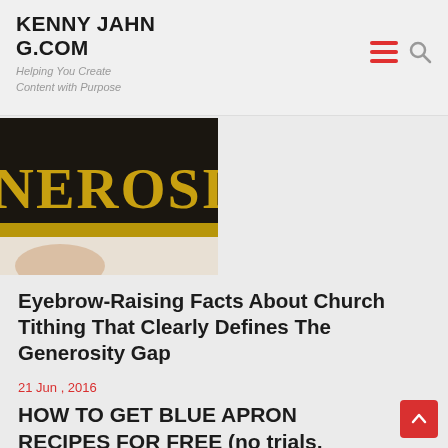KENNY JAHN G.COM — Helping You Create Content with Purpose
[Figure (photo): Partial book cover showing text 'NEROSITY G' in gold letters on dark background with a horizontal gold stripe, partially cropped]
Eyebrow-Raising Facts About Church Tithing That Clearly Defines The Generosity Gap
21 Jun , 2016
HOW TO GET BLUE APRON RECIPES FOR FREE (no trials, coupons, etc)